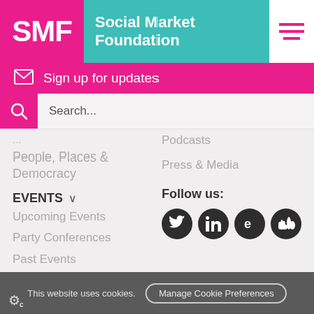[Figure (logo): SMF Social Market Foundation logo with pink SMF block and teal background text]
Sign up for updates
Search...
Podcasts
People, Places & Democracy
Press & Media
EVENTS
Follow us:
Upcoming Events
Party Conferences
Past Events
[Figure (infographic): Social media icons: Twitter, LinkedIn, Eventbrite, SoundCloud on dark circles]
This website uses cookies. Manage Cookie Preferences